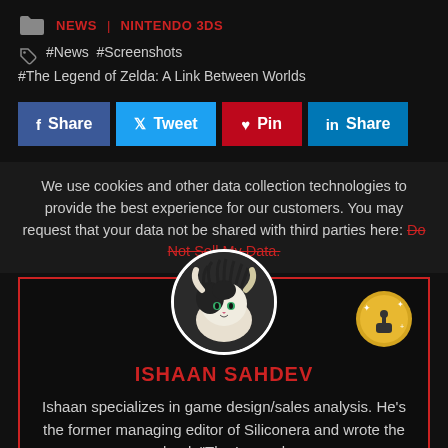NEWS  NINTENDO 3DS
#News #Screenshots #The Legend of Zelda: A Link Between Worlds
f Share  Tweet  Pin  in Share
We use cookies and other data collection technologies to provide the best experience for our customers. You may request that your data not be shared with third parties here: Do Not Sell My Data.
ISHAAN SAHDEV
Ishaan specializes in game design/sales analysis. He's the former managing editor of Silconera and wrote the book "The Legend